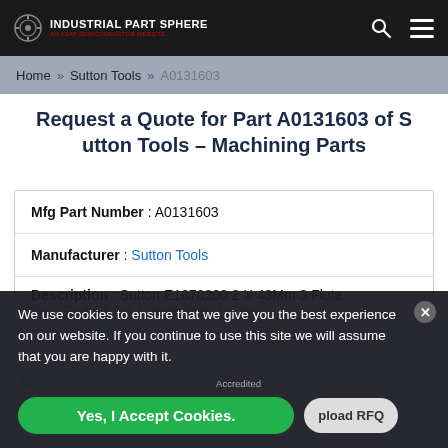INDUSTRIAL PART SPHERE — AN ASAP SEMICONDUCTOR WEBSITE
Home » Sutton Tools » A0131603
Request a Quote for Part A0131603 of Sutton Tools – Machining Parts
| Field | Value |
| --- | --- |
| Mfg Part Number | A0131603 |
| Manufacturer | Sutton Tools |
| Description | Sutton E1870200 2 X 48Mm 3 Flute Stub Endmill 8% Cobalt Steel Bright |
We use cookies to ensure that we give you the best experience on our website. If you continue to use this site we will assume that you are happy with it.
AS9120B, ISO 9001:2015, and FAA AC 0056B Accredited
Yes, I Accept Cookies.
Upload RFQ